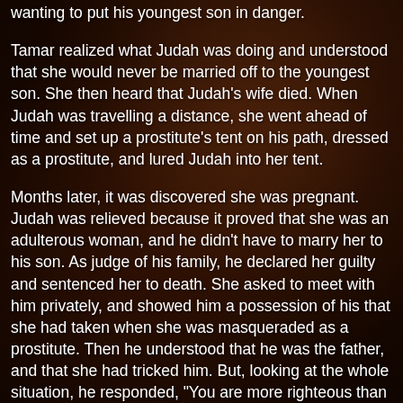wanting to put his youngest son in danger.
Tamar realized what Judah was doing and understood that she would never be married off to the youngest son.  She then heard that Judah's wife died.  When Judah was travelling a distance, she went ahead of time and set up a prostitute's tent on his path, dressed as a prostitute, and lured Judah into her tent.
Months later, it was discovered she was pregnant.  Judah was relieved because it proved that she was an adulterous woman, and he didn't have to marry her to his son.  As judge of his family, he declared her guilty and sentenced her to death.  She asked to meet with him privately, and showed him a possession of his that she had taken when she was masqueraded as a prostitute.  Then he understood that he was the father, and that she had tricked him.  But, looking at the whole situation, he responded, "You are more righteous than I."  Her son later became the patriarch of the tribe.
Viviane is also a woman trapped by a system of injustice, and she also used sex to escape this injustice.  And, I